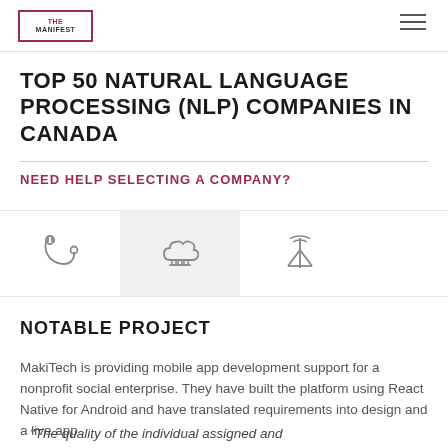THE MANIFEST
TOP 50 NATURAL LANGUAGE PROCESSING (NLP) COMPANIES IN CANADA
NEED HELP SELECTING A COMPANY?
[Figure (illustration): Three industry icons: a medical stethoscope, a cloud/tech icon, and a telecom antenna tower]
NOTABLE PROJECT
MakiTech is providing mobile app development support for a nonprofit social enterprise. They have built the platform using React Native for Android and have translated requirements into design and a live app.
"The quality of the individual assigned and